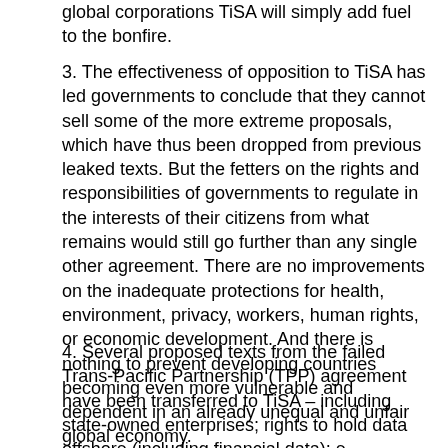global corporations TiSA will simply add fuel to the bonfire.
3. The effectiveness of opposition to TiSA has led governments to conclude that they cannot sell some of the more extreme proposals, which have thus been dropped from previous leaked texts. But the fetters on the rights and responsibilities of governments to regulate in the interests of their citizens from what remains would still go further than any single other agreement. There are no improvements on the inadequate protections for health, environment, privacy, workers, human rights, or economic development. And there is nothing to prevent developing countries becoming even more vulnerable and dependent in an already unequal and unfair global economy.
4. Several proposed texts from the failed Trans-Pacific Partnership (TPP) agreement have been transferred to TiSA – including state-owned enterprises; rights to hold data offshore (including financial data); e-commerce; and prohibitions on performance requirements for foreign investors. While these texts originated with the United States, they appear to be supported by other parties to the TPP, even though those governments